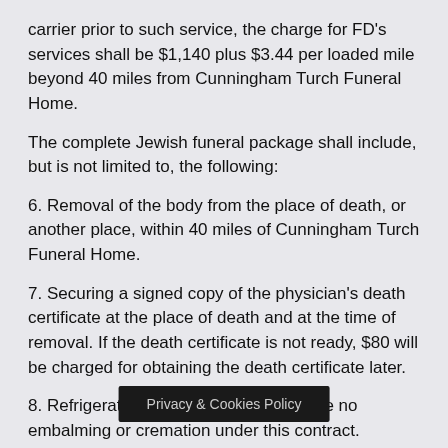carrier prior to such service, the charge for FD's services shall be $1,140 plus $3.44 per loaded mile beyond 40 miles from Cunningham Turch Funeral Home.
The complete Jewish funeral package shall include, but is not limited to, the following:
6. Removal of the body from the place of death, or another place, within 40 miles of Cunningham Turch Funeral Home.
7. Securing a signed copy of the physician's death certificate at the place of death and at the time of removal. If the death certificate is not ready, $80 will be charged for obtaining the death certificate later.
8. Refrigeration as needed. There will be no embalming or cremation under this contract.
9. An all-wood pine rect[…] ar of David (six-pointed) on top.
Privacy & Cookies Policy